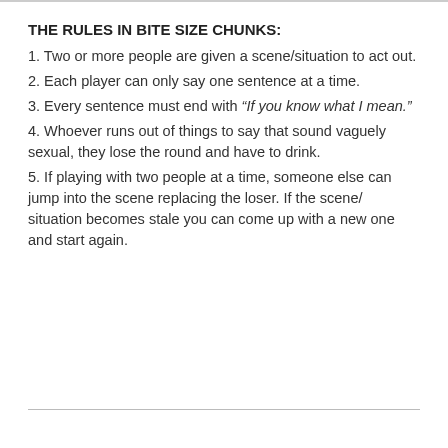THE RULES IN BITE SIZE CHUNKS:
1. Two or more people are given a scene/situation to act out.
2. Each player can only say one sentence at a time.
3. Every sentence must end with “If you know what I mean.”
4. Whoever runs out of things to say that sound vaguely sexual, they lose the round and have to drink.
5. If playing with two people at a time, someone else can jump into the scene replacing the loser. If the scene/ situation becomes stale you can come up with a new one and start again.